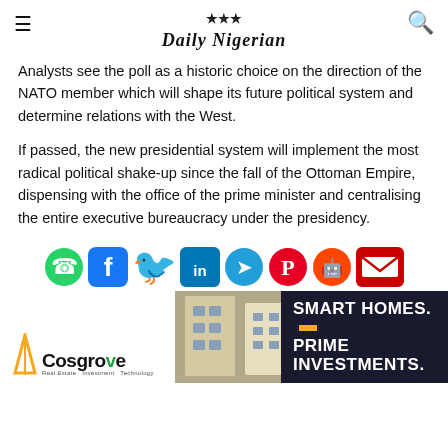Daily Nigerian
Analysts see the poll as a historic choice on the direction of the NATO member which will shape its future political system and determine relations with the West.
If passed, the new presidential system will implement the most radical political shake-up since the fall of the Ottoman Empire, dispensing with the office of the prime minister and centralising the entire executive bureaucracy under the presidency.
[Figure (infographic): Social media sharing icons row: WhatsApp (green), Facebook (blue), Twitter (blue bird), LinkedIn (blue), Telegram (blue), Pinterest (red), Reddit (orange-red), Email (red envelope)]
[Figure (infographic): Cosgrove Real Estate advertisement banner showing building photo, Cosgrove logo with flame, and text SMART HOMES. PRIME INVESTMENTS. on dark background with orange dash accent.]